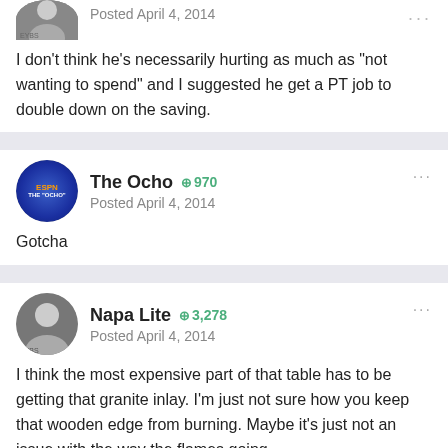Posted April 4, 2014
I don't think he's necessarily hurting as much as "not wanting to spend" and I suggested he get a PT job to double down on the saving.
The Ocho +970
Posted April 4, 2014
Gotcha
Napa Lite +3,278
Posted April 4, 2014
I think the most expensive part of that table has to be getting that granite inlay. I'm just not sure how you keep that wooden edge from burning. Maybe it's just not an issue with the way the flames going.